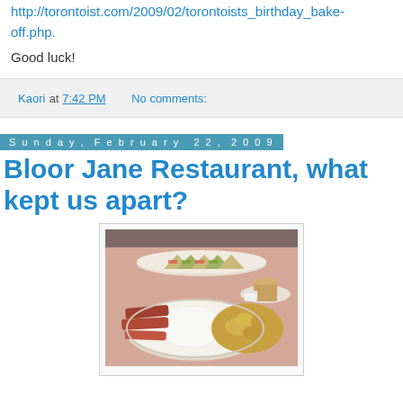http://torontoist.com/2009/02/torontoists_birthday_bake-off.php.
Good luck!
Kaori at 7:42 PM    No comments:
Sunday, February 22, 2009
Bloor Jane Restaurant, what kept us apart?
[Figure (photo): A diner-style breakfast plate with fried eggs, bacon, and home fries/potatoes, alongside a plate of club sandwiches in the background and toast with a small cup on a side plate.]